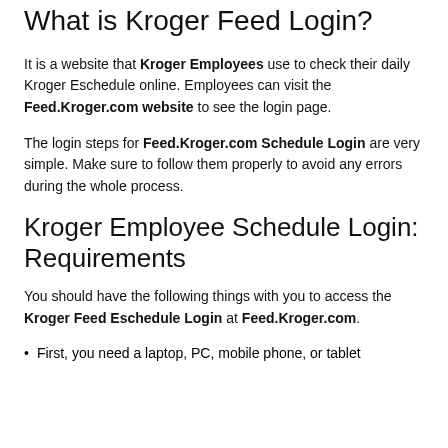What is Kroger Feed Login?
It is a website that Kroger Employees use to check their daily Kroger Eschedule online. Employees can visit the Feed.Kroger.com website to see the login page.
The login steps for Feed.Kroger.com Schedule Login are very simple. Make sure to follow them properly to avoid any errors during the whole process.
Kroger Employee Schedule Login: Requirements
You should have the following things with you to access the Kroger Feed Eschedule Login at Feed.Kroger.com.
First, you need a laptop, PC, mobile phone, or tablet